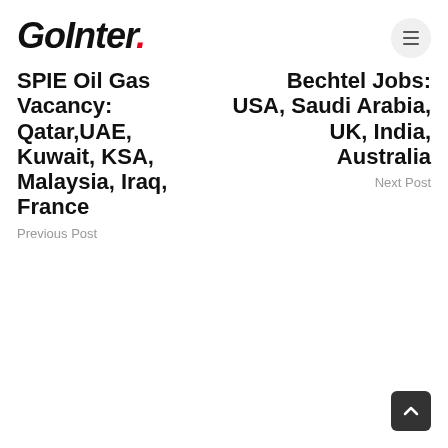GoInter.
SPIE Oil Gas Vacancy: Qatar,UAE, Kuwait, KSA, Malaysia, Iraq, France
Previous Post
Bechtel Jobs: USA, Saudi Arabia, UK, India, Australia
Next Post